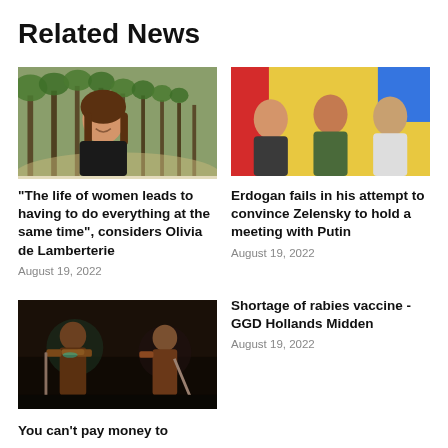Related News
[Figure (photo): Woman with long brown hair smiling outdoors among trees in a park alley]
“The life of women leads to having to do everything at the same time”, considers Olivia de Lamberterie
August 19, 2022
[Figure (photo): Three men seated together in front of colorful flags including yellow and blue Ukrainian flag]
Erdogan fails in his attempt to convince Zelensky to hold a meeting with Putin
August 19, 2022
[Figure (photo): Dark fantasy game art showing two armored warrior characters]
Shortage of rabies vaccine - GGD Hollands Midden
August 19, 2022
You can’t pay money to play in Diablo IV...